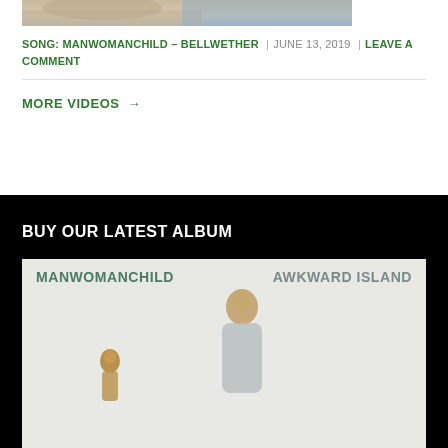[Figure (photo): Partial view of a painting or artwork showing figures, cropped at top]
SONG: MANWOMANCHILD – BELLWETHER | JUNE 13, 2019 | LEAVE A COMMENT
MORE VIDEOS →
BUY OUR LATEST ALBUM
[Figure (photo): Album cover for Manwomanchild – Awkward Island, showing sculpted figures on a light gray background]